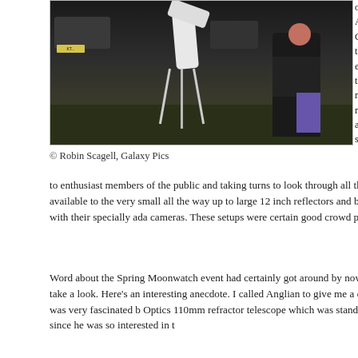[Figure (photo): Outdoor night-time photo of a telescope on a tripod with a person standing next to it, cars visible in background, taken at an astronomy event.]
© Robin Scagell, Galaxy Pics
organised by the Astronomical Soc. Given last nights the dark, I decided earlier this time a there was still som made the whole p more easier. My w along tonight and setup as well as e
to enthusiast members of the public and taking turns to look through all the diffe available on-site. Tonight I counted at least ten telescopes that were available to the very small all the way up to large 12 inch reflectors and big Dobsonian teles people brought their laptops along and did some imaging with their specially ada cameras. These setups were certain good crowd pullers!
Word about the Spring Moonwatch event had certainly got around by now and a us. Mothers, fathers, relations and children were all coming down to take a look. Here's an interesting anecdote. I called Anglian to give me a quote for double gl gentleman who came around to my house a few days ago was very fascinated b Optics 110mm refractor telescope which was standing in the corner of the living Ruislip Lido event and asked him to come along since he was so interested in t